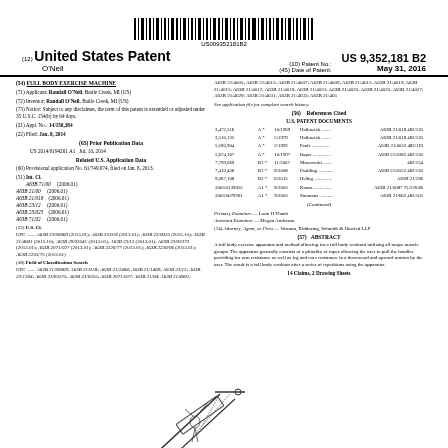[Figure (other): Barcode strip with number US009352181B2]
United States Patent | O'Neil | Patent No.: US 9,352,181 B2 | Date of Patent: May 31, 2016
(54) FULL BODY EXERCISE MACHINE
(71) Applicant: Randall O'Neil, Battle Creek, MI (US)
(72) Inventor: Randall O'Neil, Battle Creek, MI (US)
(73) Notice: Subject to any disclaimer, the term of this patent is extended or adjusted under 35 U.S.C. 154(b) by 64 days.
(21) Appl. No.: 14/150,384
(22) Filed: Jan. 8, 2014
(65) Prior Publication Data
US 2014/0194261 A1 Jul. 10, 2014
Related U.S. Application Data
(60) Provisional application No. 61/749,974, filed on Jan. 8, 2013.
(51) Int. Cl. A63B 71/00 (2006.01); A63B 21/00 (2006.01); A63B 21/018 (2006.01); A63B 23/12 (2006.01); A63B 23/025 (2006.01); A63B 71/02 (2006.01)
(52) U.S. CL CPC ... A63B 23/12/00069 (2013.01); A63B 23/018 (2013.01); A63B 23/0025 (2015.10); A63B 21/4041 (2015.10); A63B 29/03541 (2013.01); A63B 23/12 (2013.01); A63B 23/03373 (2013.01); A63B 2071/027 (2013.01); A63B 2220/77 (2013.01); A63B 2230/96 (2013.01); A63B 2235/75 (2013.01)
(58) Field of Classification Search CPC ... A63B 21/00069; A63B 21/01B; A63B 21/1484; A63B 21/1469; A63B 23/12; A63B 23/1204; A63B 23/03575; A63B 23/0355; A63B 2071/027; A63B 21/04; A63B 21/4001;
A63B 21/4005; A63B 21/4015; A63B 21/4007; A63B 21/4009; A63B 21/4011; A63B 21/4013; A63B 21/4015; A63B 21/4017; A63B 21/4019; A63B 21/4021; A63B 21/4025; A63B 21/4025; A63B 21/4027; A63B 21/4029; A63B 21/4031; A63B 21/4033; A63B 21/405
See application file for complete search history.
(56) References Cited
U.S. PATENT DOCUMENTS
| Patent No. | Type | Date | Inventor | Class |
| --- | --- | --- | --- | --- |
| 3,472,516 | A * | 10/1969 | Hollowick | A63B 21/018 482/120 |
| 3,510,132 | A * | 5/1979 | Hollowick | A63B 21/018 482/120 |
| 5,090,904 | A * | 2/1992 | Pauls | A63B 21/0052 482/119 |
| 5,674,167 | A * | 10/1997 | Roper | A63B 21/0382 482/130 |
| 7,799,069 | B1 * | 11/2007 | Moseowski | 482/154 |
| 7,410,456 | B1 * | 8/2008 | Paulding | A63B 21/0552 482/120 |
| 9,067,108 | B2 * | 6/2015 | Helbig | A63B 21/196 |
| 2003/0139955 | A1 * | 8/2003 | Koonz | A63B 21/0087 75/578.86 |
| 2003/0079261 | A1 * | 9/2003 | Simmons | A63B 21/662 482/103 |
(Continued)
Primary Examiner — Loan H Thanh
Assistant Examiner — Megan Anderson
(74) Attorney, Agent, or Firm — Varnum, Riddoring, Schmidt & Howlett LLP
(57) ABSTRACT
A full body exercise apparatus and method allowing for a full body workout utilizing all major muscle groups. The apparatus generally consists of a plurality of ropes allowing the user to pull the handles providing for arm resistance as well as leg and core resistance in a downward and upward motion by the user. The result is a full body workout after a series of repetitions using the apparatus.
14 Claims, 2 Drawing Sheets
[Figure (engineering-diagram): Line drawing of a full body exercise machine showing an inclined frame structure with ropes and handles]